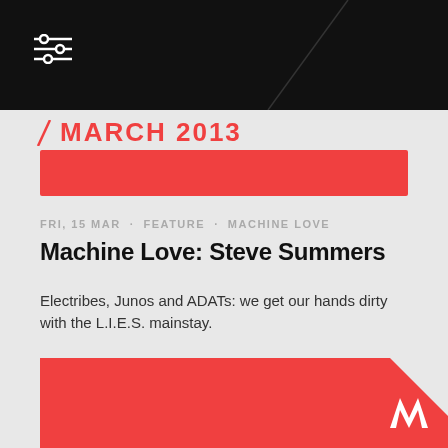MARCH 2013
FRI, 15 MAR · FEATURE · MACHINE LOVE
Machine Love: Steve Summers
Electribes, Junos and ADATs: we get our hands dirty with the L.I.E.S. mainstay.
[Figure (illustration): Red rectangular block image placeholder at bottom of page with RA (Resident Advisor) logo in bottom right corner]